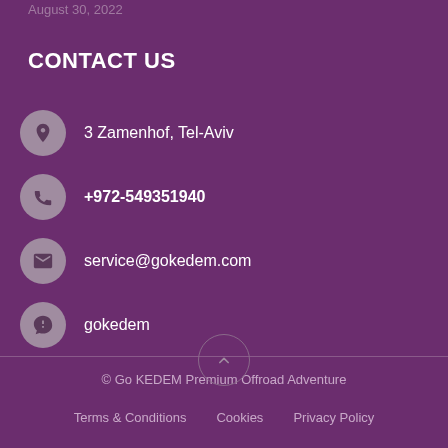August 30, 2022
CONTACT US
3 Zamenhof, Tel-Aviv
+972-549351940
service@gokedem.com
gokedem
© Go KEDEM Premium Offroad Adventure
Terms & Conditions   Cookies   Privacy Policy